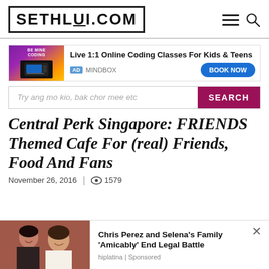SETHLUI.COM
[Figure (screenshot): Advertisement banner: Live 1:1 Online Coding Classes For Kids & Teens — AD MINDBOX — BOOK NOW button]
Try ang mo kio, bak chor mee etc
Central Perk Singapore: FRIENDS Themed Cafe For (real) Friends, Food And Fans
November 26, 2016  |  👁 1579
[Figure (photo): Sponsored content photo showing two people]
Chris Perez and Selena's Family 'Amicably' End Legal Battle
hiplatina | Sponsored